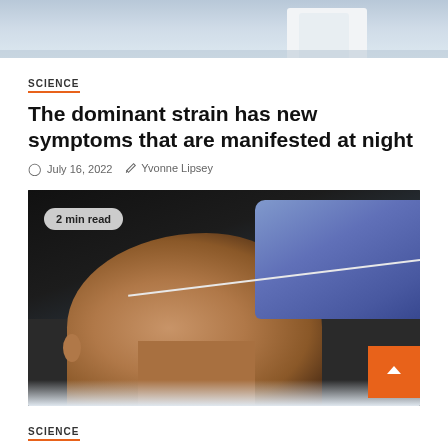[Figure (photo): Top portion of a photo showing a person in a white lab coat, partially cropped at the top of the page]
SCIENCE
The dominant strain has new symptoms that are manifested at night
July 16, 2022  Yvonne Lipsey
[Figure (photo): A man tilting his head back receiving a nasal swab COVID test from a gloved healthcare worker. A '2 min read' badge is overlaid in the top left. An orange scroll-to-top button is in the bottom right corner.]
SCIENCE